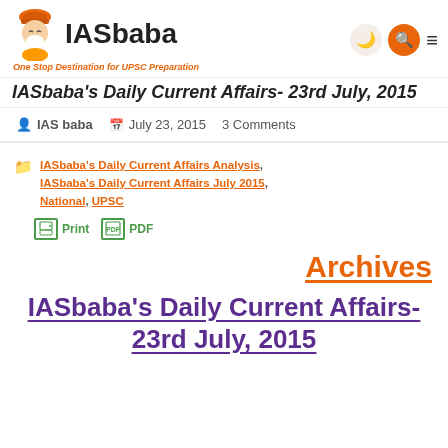IASbaba — One Stop Destination for UPSC Preparation
IASbaba's Daily Current Affairs- 23rd July, 2015
IAS baba   July 23, 2015   3 Comments
IASbaba's Daily Current Affairs Analysis, IASbaba's Daily Current Affairs July 2015, National, UPSC
Print   PDF
Archives
IASbaba's Daily Current Affairs- 23rd July, 2015